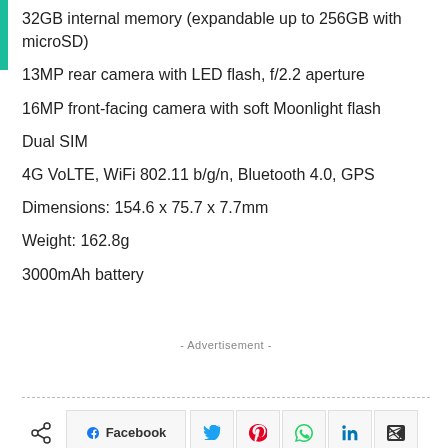32GB internal memory (expandable up to 256GB with microSD)
13MP rear camera with LED flash, f/2.2 aperture
16MP front-facing camera with soft Moonlight flash
Dual SIM
4G VoLTE, WiFi 802.11 b/g/n, Bluetooth 4.0, GPS
Dimensions: 154.6 x 75.7 x 7.7mm
Weight: 162.8g
3000mAh battery
- Advertisement -
[Figure (other): Social sharing buttons row: share icon, Facebook button, Twitter, Pinterest, WhatsApp, LinkedIn, Telegram]
[Figure (other): Secondary social row: Facebook (blue), Twitter (blue), Email (orange), Print (blue) icon buttons]
Mayur Budharaju